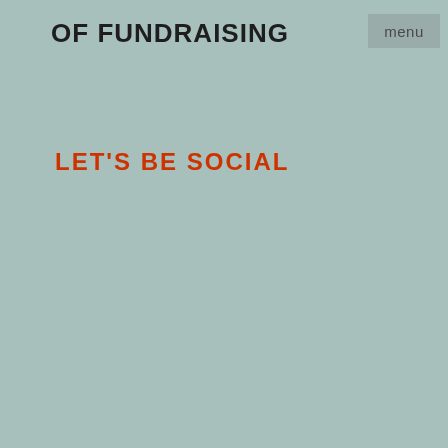OF FUNDRAISING
menu
LET'S BE SOCIAL